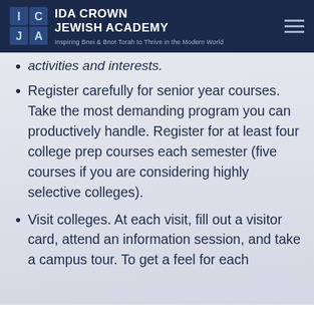IDA CROWN JEWISH ACADEMY
Inspiring Bnei & Bnot Torah to Thrive in the Modern World
activities and interests.
Register carefully for senior year courses. Take the most demanding program you can productively handle. Register for at least four college prep courses each semester (five courses if you are considering highly selective colleges).
Visit colleges. At each visit, fill out a visitor card, attend an information session, and take a campus tour. To get a feel for each